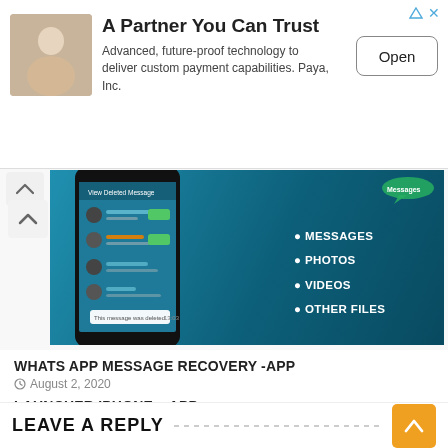[Figure (screenshot): Advertisement banner: woman with laptop illustration on left, title 'A Partner You Can Trust', description text, and 'Open' button on right]
[Figure (screenshot): WhatsApp Message Recovery App promotional banner showing a phone with WhatsApp messages and bullet points: MESSAGES, PHOTOS, VIDEOS, OTHER FILES]
WHATS APP MESSAGE RECOVERY -APP
August 2, 2020
LAUNCHER IPHONE – APP
August 2, 2020
LEAVE A REPLY